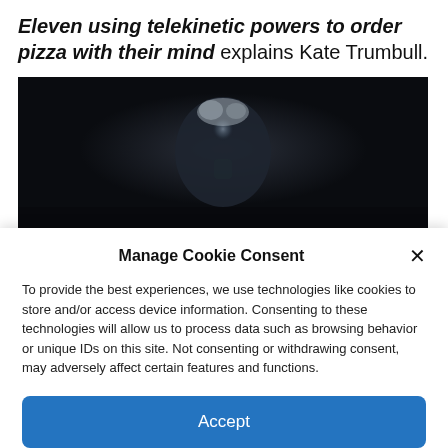Eleven using telekinetic powers to order pizza with their mind explains Kate Trumbull.
[Figure (photo): Dark cinematic still image of a person with light hair in a dimly lit scene, appearing to be from a TV show or film.]
Manage Cookie Consent
To provide the best experiences, we use technologies like cookies to store and/or access device information. Consenting to these technologies will allow us to process data such as browsing behavior or unique IDs on this site. Not consenting or withdrawing consent, may adversely affect certain features and functions.
Accept
Cookie Policy